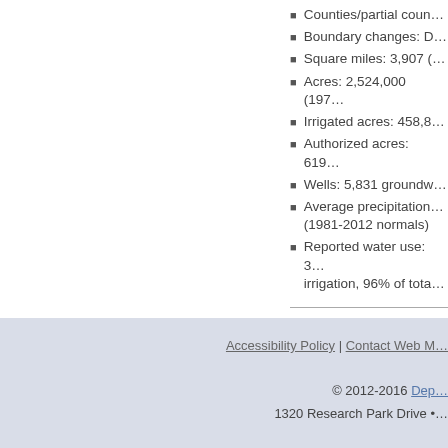Counties/partial coun…
Boundary changes: D…
Square miles: 3,907 (…
Acres: 2,524,000 (197…
Irrigated acres: 458,8…
Authorized acres: 619…
Wells: 5,831 groundw…
Average precipitation… (1981-2012 normals)
Reported water use: 3… irrigation, 96% of tota…
Accessibility Policy | Contact Web M… © 2012-2016 Dep… 1320 Research Park Drive •…